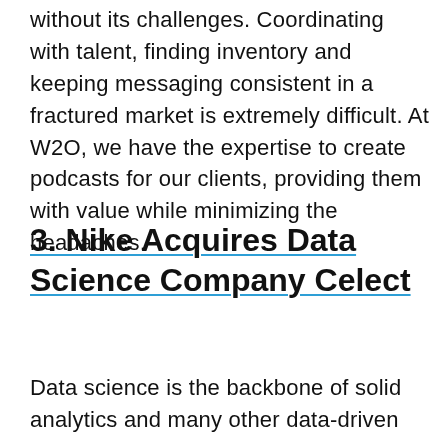without its challenges. Coordinating with talent, finding inventory and keeping messaging consistent in a fractured market is extremely difficult. At W2O, we have the expertise to create podcasts for our clients, providing them with value while minimizing the headaches.
3. Nike Acquires Data Science Company Celect
Data science is the backbone of solid analytics and many other data-driven